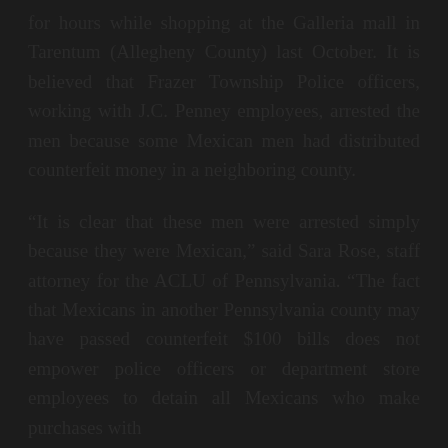for hours while shopping at the Galleria mall in Tarentum (Allegheny County) last October. It is believed that Frazer Township Police officers, working with J.C. Penney employees, arrested the men because some Mexican men had distributed counterfeit money in a neighboring county.
“It is clear that these men were arrested simply because they were Mexican,” said Sara Rose, staff attorney for the ACLU of Pennsylvania. “The fact that Mexicans in another Pennsylvania county may have passed counterfeit $100 bills does not empower police officers or department store employees to detain all Mexicans who make purchases with